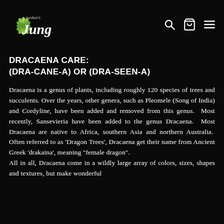Jordan's Jungle - navigation header with logo, search, cart, and menu icons
DRACAENA CARE:
(DRA-CANE-A) OR (DRA-SEEN-A)
Dracaena is a genus of plants, including roughly 120 species of trees and succulents. Over the years, other genera, such as Pleomele (Song of India) and Cordyline, have been added and removed from this genus.  Most recently, Sansevieria have been added to the genus Dracaena.  Most Dracaena are native to Africa, southern Asia and northern Australia.  Often referred to as 'Dragon Trees', Dracaena get their name from Ancient Greek 'drakaina', meaning "female dragon".
All in all, Dracaena come in a wildly large array of colors, sizes, shapes and textures, but make wonderful